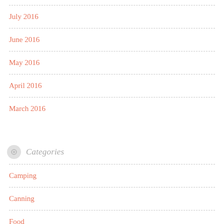July 2016
June 2016
May 2016
April 2016
March 2016
Categories
Camping
Canning
Food